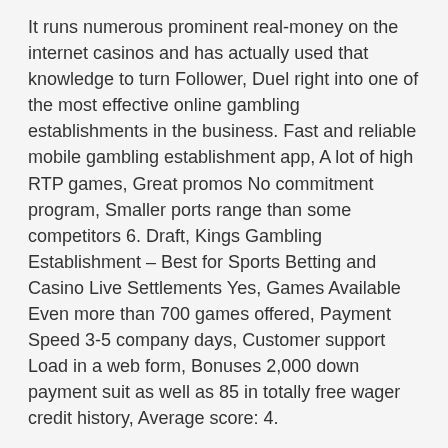It runs numerous prominent real-money on the internet casinos and has actually used that knowledge to turn Follower, Duel right into one of the most effective online gambling establishments in the business. Fast and reliable mobile gambling establishment app, A lot of high RTP games, Great promos No commitment program, Smaller ports range than some competitors 6. Draft, Kings Gambling Establishment – Best for Sports Betting and Casino Live Settlements Yes, Games Available Even more than 700 games offered, Payment Speed 3-5 company days, Customer support Load in a web form, Bonuses 2,000 down payment suit as well as 85 in totally free wager credit history, Average score: 4.
It launched an on-line sportsbook in 2018, adhered to by a real-money online gambling enterprise. Draft, Kings Sportsbook is now firmly established as the market leader among sporting activities betting applications in